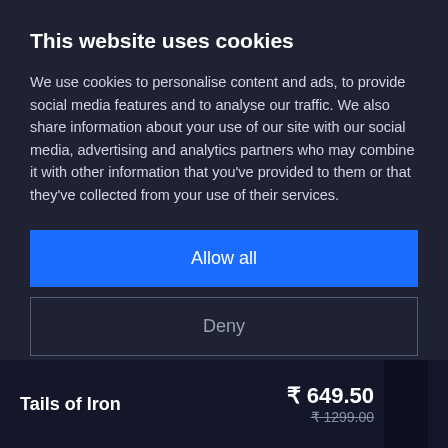This website uses cookies
We use cookies to personalise content and ads, to provide social media features and to analyse our traffic. We also share information about your use of our site with our social media, advertising and analytics partners who may combine it with other information that you've provided to them or that they've collected from your use of their services.
Allow all
Deny
Show details
Tails of Iron   ₹ 649.50   ₹ 1299.00